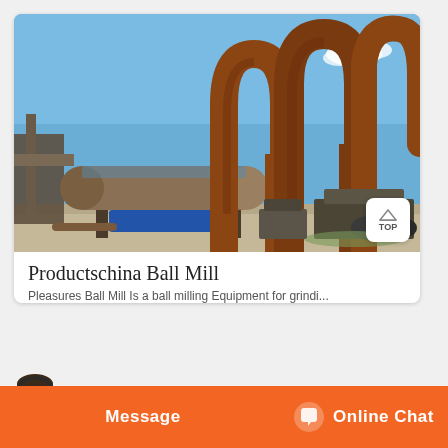[Figure (photo): Industrial ball mill machinery and large rusty steel structural frames photographed outdoors under a blue sky. Shows cylindrical drum mill on the left with large rust-colored curved steel arch frames in the background.]
Productschina Ball Mill
Pleasures Ball Mill Is a ball milling Equipment for grinding...